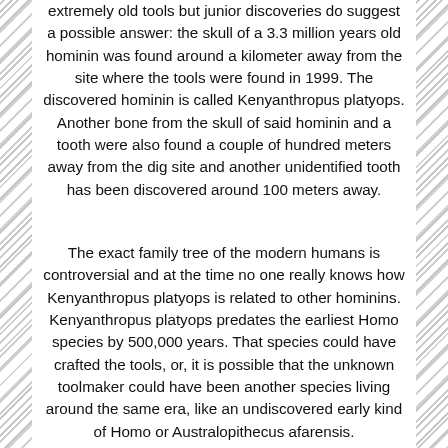extremely old tools but junior discoveries do suggest a possible answer: the skull of a 3.3 million years old hominin was found around a kilometer away from the site where the tools were found in 1999. The discovered hominin is called Kenyanthropus platyops. Another bone from the skull of said hominin and a tooth were also found a couple of hundred meters away from the dig site and another unidentified tooth has been discovered around 100 meters away.
The exact family tree of the modern humans is controversial and at the time no one really knows how Kenyanthropus platyops is related to other hominins. Kenyanthropus platyops predates the earliest Homo species by 500,000 years. That species could have crafted the tools, or, it is possible that the unknown toolmaker could have been another species living around the same era, like an undiscovered early kind of Homo or Australopithecus afarensis.